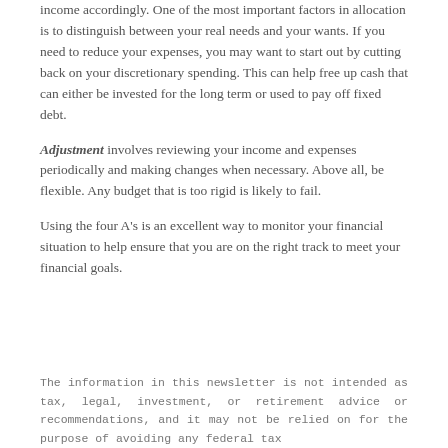income accordingly. One of the most important factors in allocation is to distinguish between your real needs and your wants. If you need to reduce your expenses, you may want to start out by cutting back on your discretionary spending. This can help free up cash that can either be invested for the long term or used to pay off fixed debt.
Adjustment involves reviewing your income and expenses periodically and making changes when necessary. Above all, be flexible. Any budget that is too rigid is likely to fail.
Using the four A's is an excellent way to monitor your financial situation to help ensure that you are on the right track to meet your financial goals.
The information in this newsletter is not intended as tax, legal, investment, or retirement advice or recommendations, and it may not be relied on for the purpose of avoiding any federal tax